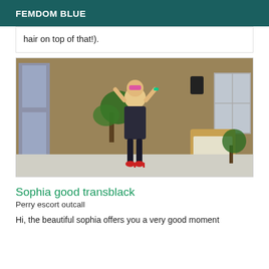FEMDOM BLUE
hair on top of that!).
[Figure (photo): A person wearing a black latex mini dress, pink masquerade mask, and red high heels, posing in a room with yellow walls, a wicker chair, and potted plants.]
Sophia good transblack
Perry escort outcall
Hi, the beautiful sophia offers you a very good moment